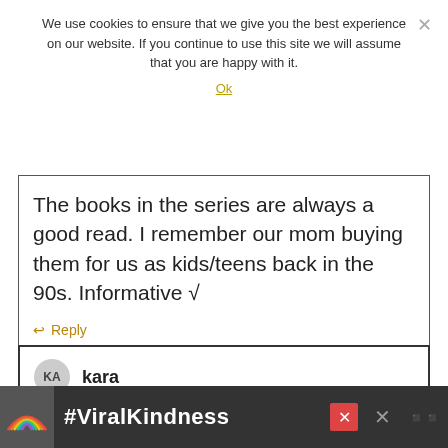We use cookies to ensure that we give you the best experience on our website. If you continue to use this site we will assume that you are happy with it.
Ok
The books in the series are always a good read. I remember our mom buying them for us as kids/teens back in the 90s. Informative √
↩ Reply
kara
April 26, 2012 at 06:44 PM
I would like to win for my mother in law.
[Figure (screenshot): #ViralKindness advertisement banner at the bottom of the page with a rainbow illustration]